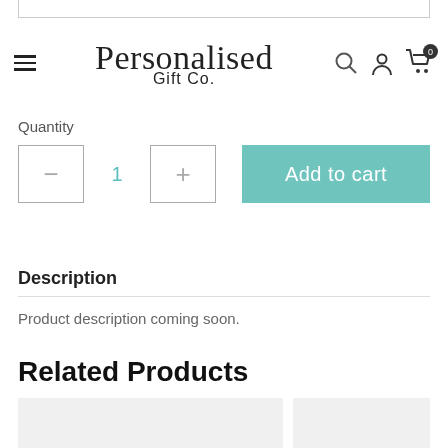Personalised Gift Co.
Quantity
1
Add to cart
Description
Product description coming soon.
Related Products